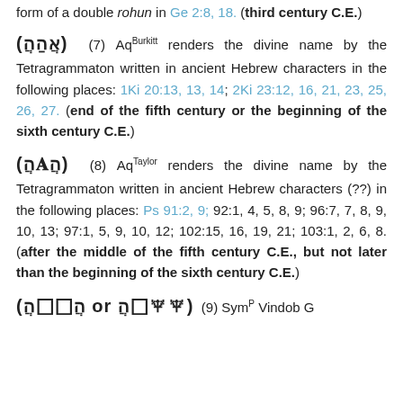form of a double rohun in Ge 2:8, 18. (third century C.E.)
(𐤉𐤄𐤅𐤄) (7) AqBurkitt renders the divine name by the Tetragrammaton written in ancient Hebrew characters in the following places: 1Ki 20:13, 13, 14; 2Ki 23:12, 16, 21, 23, 25, 26, 27. (end of the fifth century or the beginning of the sixth century C.E.)
(𐤉𐤄𐤅𐤄) (8) AqTaylor renders the divine name by the Tetragrammaton written in ancient Hebrew characters (??) in the following places: Ps 91:2, 9; 92:1, 4, 5, 8, 9; 96:7, 7, 8, 9, 10, 13; 97:1, 5, 9, 10, 12; 102:15, 16, 19, 21; 103:1, 2, 6, 8. (after the middle of the fifth century C.E., but not later than the beginning of the sixth century C.E.)
(𐤉𐤄𐤅𐤄 or 𐤉𐤄𐤅𐤄) (9) SymP Vindob G